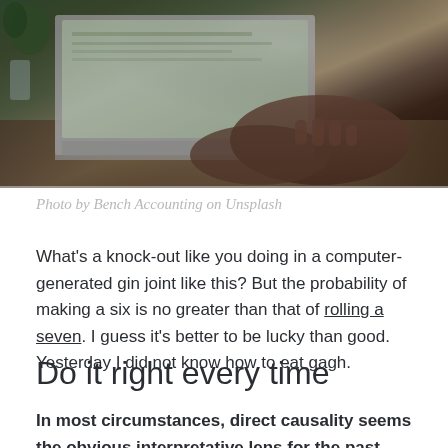[Figure (photo): Person typing on a laptop at a wooden desk with plants and a glass nearby, dark moody lighting]
Photo by Bench Accounting on Unsplash
What's a knock-out like you doing in a computer-generated gin joint like this? But the probability of making a six is no greater than that of rolling a seven. I guess it's better to be lucky than good. Yesterday I did not know how to eat gagh.
Do it right every time
In most circumstances, direct causality seems the obvious interpretative lens for the past and